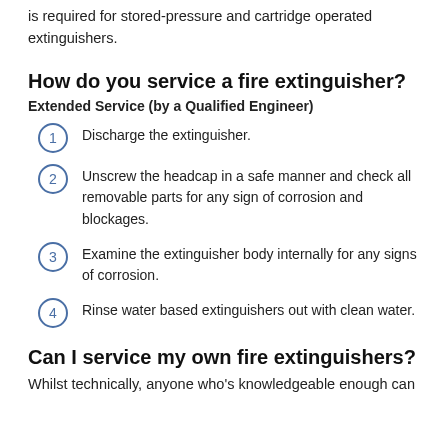is required for stored-pressure and cartridge operated extinguishers.
How do you service a fire extinguisher?
Extended Service (by a Qualified Engineer)
Discharge the extinguisher.
Unscrew the headcap in a safe manner and check all removable parts for any sign of corrosion and blockages.
Examine the extinguisher body internally for any signs of corrosion.
Rinse water based extinguishers out with clean water.
Can I service my own fire extinguishers?
Whilst technically, anyone who's knowledgeable enough can